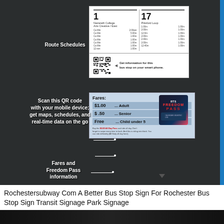[Figure (photo): Bus stop sign mounted on a pole with dark background, showing route schedules, QR code, and fares panel. Annotated with white label callouts pointing to: Route Schedules, Scan this QR code with your mobile device, Fares and Freedom Pass information.]
Rochestersubway Com A Better Bus Stop Sign For Rochester Bus Stop Sign Transit Signage Park Signage
[Figure (photo): Dark strip at bottom of page, partial view of another image]